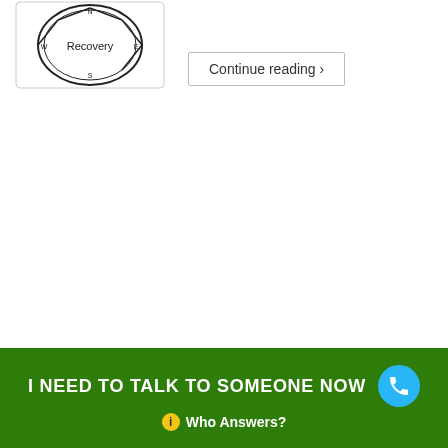[Figure (logo): AA Recovery circular logo/stamp with the word 'Recovery' in the center]
Continue reading ›
I NEED TO TALK TO SOMEONE NOW
Who Answers?